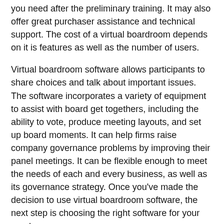you need after the preliminary training. It may also offer great purchaser assistance and technical support. The cost of a virtual boardroom depends on it is features as well as the number of users.
Virtual boardroom software allows participants to share choices and talk about important issues. The software incorporates a variety of equipment to assist with board get togethers, including the ability to vote, produce meeting layouts, and set up board moments. It can help firms raise company governance problems by improving their panel meetings. It can be flexible enough to meet the needs of each and every business, as well as its governance strategy. Once you've made the decision to use virtual boardroom software, the next step is choosing the right software for your needs.
[Figure (illustration): Three social media icons in a row: Facebook, Instagram, WhatsApp]